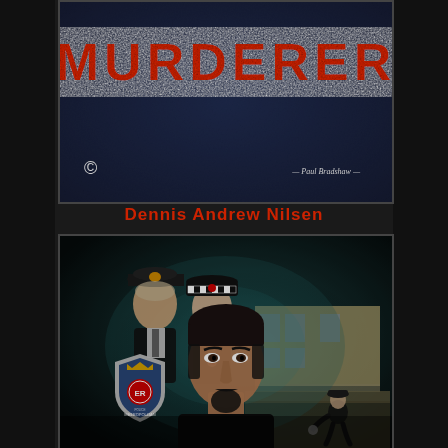[Figure (illustration): Top illustration panel with dark blue background showing the word MURDERER in large red letters, with a copyright symbol bottom left and artist signature bottom right]
Dennis Andrew Nilsen
[Figure (illustration): Bottom illustration panel showing a dark atmospheric painting of Dennis Nilsen with police officers, police badge (ER), and a residential building in the background]